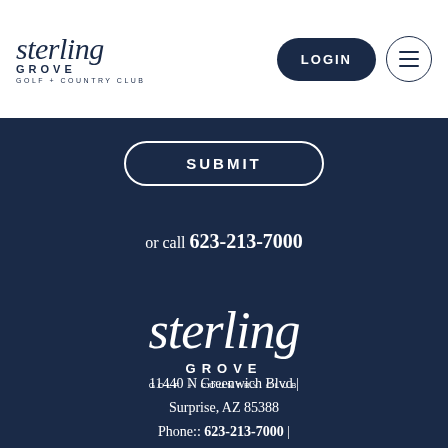[Figure (logo): Sterling Grove Golf + Country Club logo in header - serif italic 'sterling' text with 'GROVE' and 'GOLF + COUNTRY CLUB' below]
LOGIN
SUBMIT
or call 623-213-7000
[Figure (logo): Sterling Grove Golf + Country Club logo large white on dark navy background - serif italic 'sterling' text with 'GROVE' and 'GOLF + COUNTRY CLUB' below]
11440 N Greenwich Blvd | Surprise, AZ 85388
Phone:: 623-213-7000 |